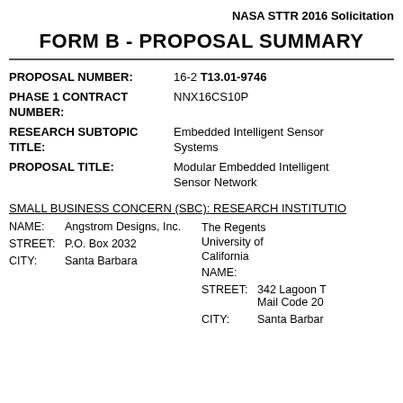NASA STTR 2016 Solicitation
FORM B - PROPOSAL SUMMARY
| Field | Value |
| --- | --- |
| PROPOSAL NUMBER: | 16-2 T13.01-9746 |
| PHASE 1 CONTRACT NUMBER: | NNX16CS10P |
| RESEARCH SUBTOPIC TITLE: | Embedded Intelligent Sensor Systems |
| PROPOSAL TITLE: | Modular Embedded Intelligent Sensor Network |
SMALL BUSINESS CONCERN (SBC):    RESEARCH INSTITUTION (RI):
| Field | SBC Value | Field | RI Value |
| --- | --- | --- | --- |
| NAME: | Angstrom Designs, Inc. | NAME: | The Regents University of California |
| STREET: | P.O. Box 2032 | STREET: | 342 Lagoon T Mail Code 20 |
| CITY: | Santa Barbara | CITY: | Santa Barbara |